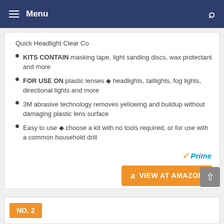Menu
Quick Headlight Clear Co
KITS CONTAIN masking tape, light sanding discs, wax protectant and more
FOR USE ON plastic lenses ◆ headlights, taillights, fog lights, directional lights and more
3M abrasive technology removes yellowing and buildup without damaging plastic lens surface
Easy to use ◆ choose a kit with no tools required, or for use with a common household drill
[Figure (logo): Amazon Prime badge with checkmark and VIEW AT AMAZON button in orange]
NO. 2